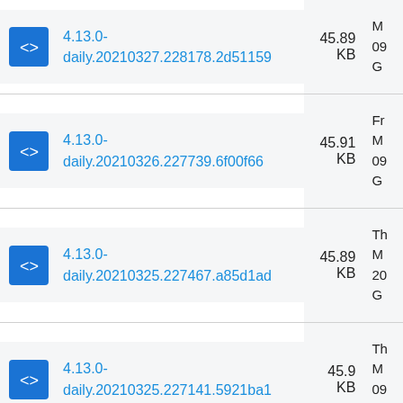| Package | Size | Date |
| --- | --- | --- |
| 4.13.0-daily.20210327.228178.2d51159 | 45.89 KB | 09... G... |
| 4.13.0-daily.20210326.227739.6f00f66 | 45.91 KB | Fr... M... 09... G... |
| 4.13.0-daily.20210325.227467.a85d1ad | 45.89 KB | Th... M... 20... G... |
| 4.13.0-daily.20210325.227141.5921ba1 | 45.9 KB | Th... M... 09... G... |